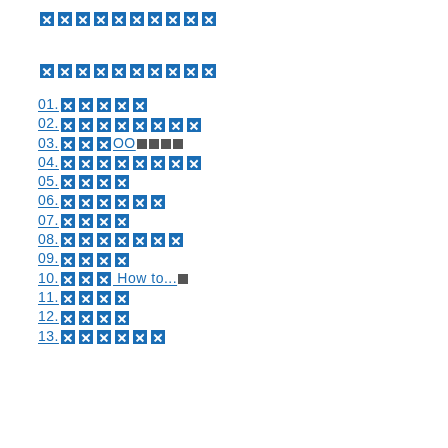□□□□□□□□□□
□□□□□□□□□□
01.□□□□□
02.□□□□□□□□
03.□□□OO□□□□
04.□□□□□□□□
05.□□□□
06.□□□□□□
07.□□□□
08.□□□□□□□
09.□□□□
10.□□□ How to...□
11.□□□□
12.□□□□
13.□□□□□□